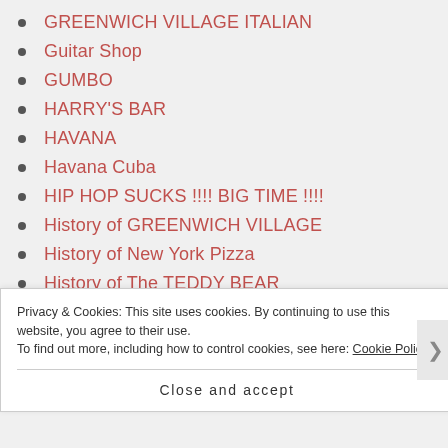GREENWICH VILLAGE ITALIAN
Guitar Shop
GUMBO
HARRY'S BAR
HAVANA
Havana Cuba
HIP HOP SUCKS !!!! BIG TIME !!!!
History of GREENWICH VILLAGE
History of New York Pizza
History of The TEDDY BEAR
HOPE DIAMOND
HOT COFFEE
Privacy & Cookies: This site uses cookies. By continuing to use this website, you agree to their use.
To find out more, including how to control cookies, see here: Cookie Policy
Close and accept